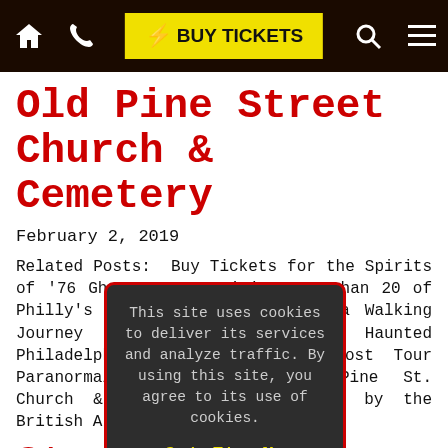⌂  ☎  ⚡ BUY TICKETS  🔍  ☰
Old Pine Street Church & Cemetery
February 2, 2019
Related Posts:  Buy Tickets for the Spirits of '76 Ghost Tour - Visit more than 20 of Philly's Frights and Sights on a Walking Journey through Historic and Haunted Philadelphia Spirits of '76 Ghost Tour Paranormal Investigation Old Pine St. Church & Cemetery was occupied by the British Army...
St. Pe... & Cemetery
February 2, 20...
Related Po... Spirits of...
[Figure (screenshot): Cookie consent modal dialog with dark background and red border. Text reads: 'This site uses cookies to deliver its services and analyze traffic. By using this site, you agree to its use of cookies.' Two yellow underlined buttons: 'Got It' and 'No'.]